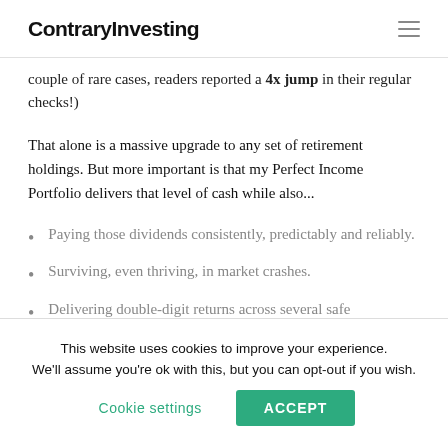ContraryInvesting
couple of rare cases, readers reported a 4x jump in their regular checks!)
That alone is a massive upgrade to any set of retirement holdings. But more important is that my Perfect Income Portfolio delivers that level of cash while also...
Paying those dividends consistently, predictably and reliably.
Surviving, even thriving, in market crashes.
Delivering double-digit returns across several safe investments.
This website uses cookies to improve your experience. We'll assume you're ok with this, but you can opt-out if you wish. Cookie settings  ACCEPT